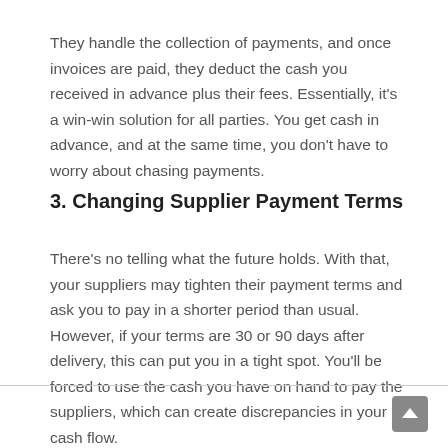They handle the collection of payments, and once invoices are paid, they deduct the cash you received in advance plus their fees. Essentially, it's a win-win solution for all parties. You get cash in advance, and at the same time, you don't have to worry about chasing payments.
3. Changing Supplier Payment Terms
There's no telling what the future holds. With that, your suppliers may tighten their payment terms and ask you to pay in a shorter period than usual. However, if your terms are 30 or 90 days after delivery, this can put you in a tight spot. You'll be forced to use the cash you have on hand to pay the suppliers, which can create discrepancies in your cash flow.